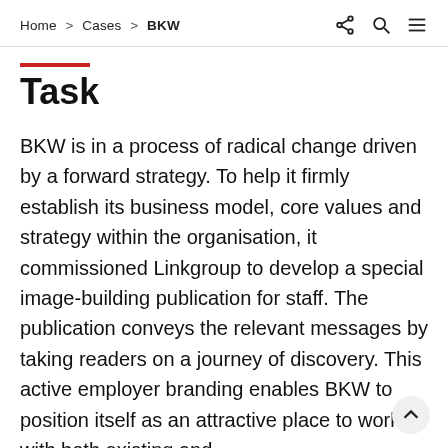Home > Cases > BKW
Task
BKW is in a process of radical change driven by a forward strategy. To help it firmly establish its business model, core values and strategy within the organisation, it commissioned Linkgroup to develop a special image-building publication for staff. The publication conveys the relevant messages by taking readers on a journey of discovery. This active employer branding enables BKW to position itself as an attractive place to work with both existing and